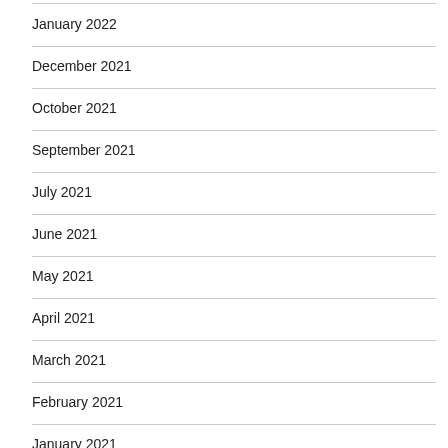January 2022
December 2021
October 2021
September 2021
July 2021
June 2021
May 2021
April 2021
March 2021
February 2021
January 2021